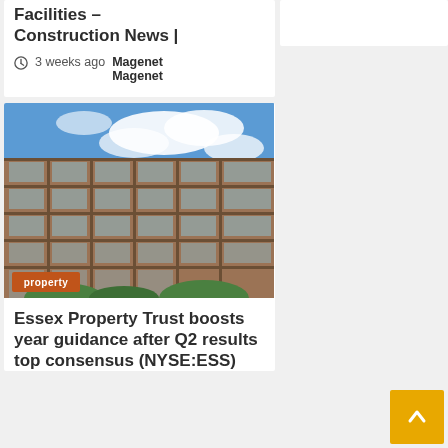Facilities – Construction News |
3 weeks ago  Magenet Magenet
[Figure (photo): Modern multi-storey residential building with wooden/timber facade and balconies against a blue sky with clouds. A property badge overlay reads 'property' in the lower left corner.]
Essex Property Trust boosts year guidance after Q2 results top consensus (NYSE:ESS)